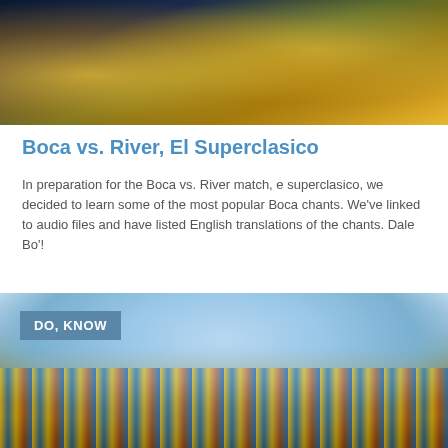[Figure (photo): Top photo showing Boca Juniors yellow and blue jersey/merchandise on a dark surface with sunlight]
Boca vs. River, El Superclasico
In preparation for the Boca vs. River match, e superclasico, we decided to learn some of the most popular Boca chants. We've linked to audio files and have listed English translations of the chants. Dale Bo'!
BY ANGELA - MARCH 19, 2010 | 5 COMMENTS READMORE...
[Figure (photo): Stadium photo showing a packed soccer stadium with blue sky, crowd in yellow and blue Boca Juniors colors, with DO, KNOW badge overlay]